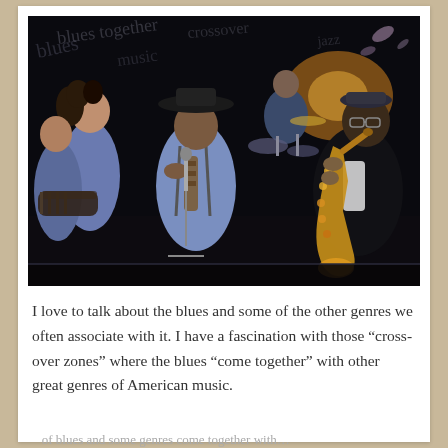[Figure (illustration): A dark illustrated/painted scene of a blues/jazz band performing on stage. A singer in a wide-brim hat plays harmonica at a microphone, a saxophone player on the right, a guitarist on the left, a keyboard player and drummer in the background. The scene is dark with dramatic lighting, rendered in a painterly comic-art style.]
I love to talk about the blues and some of the other genres we often associate with it. I have a fascination with those “crossover zones” where the blues “come together” with other great genres of American music.